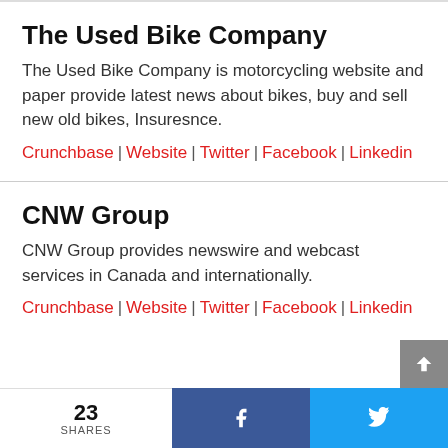The Used Bike Company
The Used Bike Company is motorcycling website and paper provide latest news about bikes, buy and sell new old bikes, Insuresnce.
Crunchbase | Website | Twitter | Facebook | Linkedin
CNW Group
CNW Group provides newswire and webcast services in Canada and internationally.
Crunchbase | Website | Twitter | Facebook | Linkedin